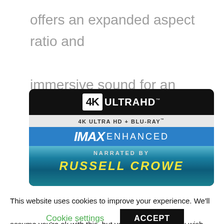offers an expanded aspect ratio and immersive sound for an incredible home viewing experience.
[Figure (screenshot): 4K Ultra HD + Blu-ray IMAX Enhanced disc cover featuring narration by Russell Crowe, showing the logo and ocean scene]
This website uses cookies to improve your experience. We'll assume you're ok with this, but you can opt-out if you wish.
Cookie settings   ACCEPT